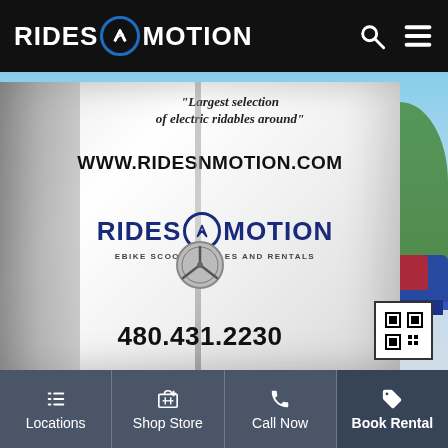RIDES N MOTION
[Figure (photo): Rear of a white Mercedes Sprinter van with 'RIDES N MOTION — EBIKE SCOOTER SALES AND RENTALS' branding, website www.ridesnmotion.com, phone 480.431.2230, and the tagline 'Largest selection of electric ridables around', parked in a sunny outdoor lot with trees and other cars visible.]
Locations  Shop Store  Call Now  Book Rental